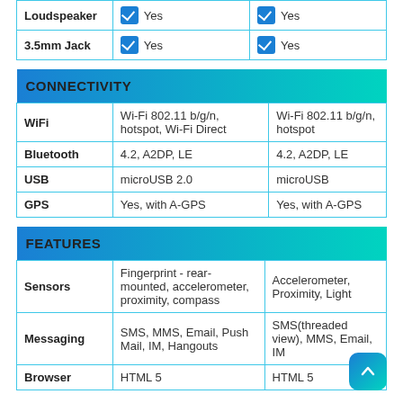|  | Device 1 | Device 2 |
| --- | --- | --- |
| Loudspeaker | ✓ Yes | ✓ Yes |
| 3.5mm Jack | ✓ Yes | ✓ Yes |
| CONNECTIVITY |  |  |
| --- | --- | --- |
| WiFi | Wi-Fi 802.11 b/g/n, hotspot, Wi-Fi Direct | Wi-Fi 802.11 b/g/n, hotspot |
| Bluetooth | 4.2, A2DP, LE | 4.2, A2DP, LE |
| USB | microUSB 2.0 | microUSB |
| GPS | Yes, with A-GPS | Yes, with A-GPS |
| FEATURES |  |  |
| --- | --- | --- |
| Sensors | Fingerprint - rear-mounted, accelerometer, proximity, compass | Accelerometer, Proximity, Light |
| Messaging | SMS, MMS, Email, Push Mail, IM, Hangouts | SMS(threaded view), MMS, Email, IM |
| Browser | HTML 5 | HTML 5 |